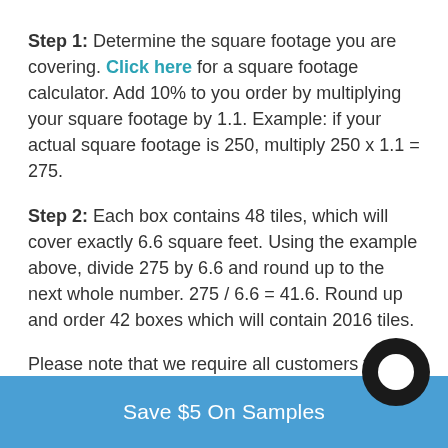Step 1: Determine the square footage you are covering. Click here for a square footage calculator. Add 10% to you order by multiplying your square footage by 1.1. Example: if your actual square footage is 250, multiply 250 x 1.1 = 275.
Step 2: Each box contains 48 tiles, which will cover exactly 6.6 square feet. Using the example above, divide 275 by 6.6 and round up to the next whole number. 275 / 6.6 = 41.6. Round up and order 42 boxes which will contain 2016 tiles.
Please note that we require all customers to order 10% overage or one extra box, whichever is greater, to ensure that the installation can be completed, even if the
Save $5 On Samples